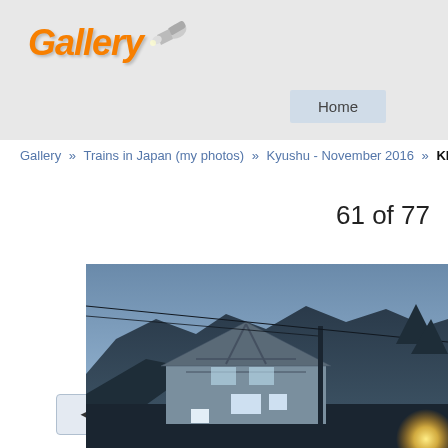Gallery — Home
Gallery » Trains in Japan (my photos) » Kyushu - November 2016 » KIHA4
◄◄ Previous   61 of 77
[Figure (photo): Evening/dusk photo of a building with Tudor-style timber framing, mountains in the background, a utility pole and power lines, and a warm light source at bottom right. Blue twilight sky.]